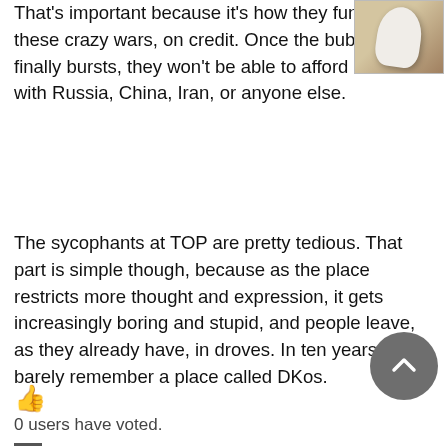That's important because it's how they fund all these crazy wars, on credit. Once the bubble finally bursts, they won't be able to afford a war with Russia, China, Iran, or anyone else.
[Figure (photo): A small thumbnail photo showing a white whirling dervish figure against a warm brown background.]
The sycophants at TOP are pretty tedious. That part is simple though, because as the place restricts more thought and expression, it gets increasingly boring and stupid, and people leave, as they already have, in droves. In ten years we'll barely remember a place called DKos.
0 users have voted.